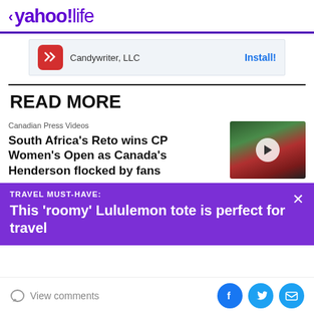< yahoo!life
[Figure (screenshot): Ad banner for Candywriter LLC with Install button]
READ MORE
Canadian Press Videos
South Africa's Reto wins CP Women's Open as Canada's Henderson flocked by fans
[Figure (photo): Video thumbnail showing crowd in red shirts with play button overlay]
TRAVEL MUST-HAVE:
This 'roomy' Lululemon tote is perfect for travel
View comments